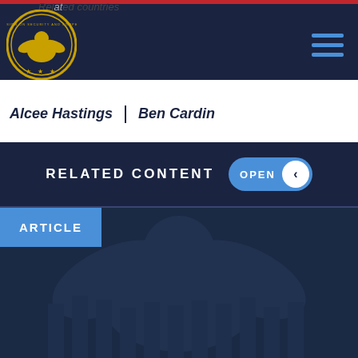Related countries
Leadership
Alcee Hastings | Ben Cardin
RELATED CONTENT
OPEN
ARTICLE